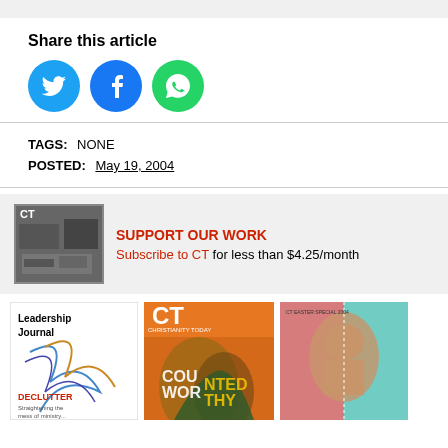Share this article
[Figure (infographic): Social media share icons: Twitter (blue bird), Facebook (blue circle with f), WhatsApp (green circle with phone)]
TAGS: NONE
POSTED: May 19, 2004
[Figure (infographic): Advertisement banner with CT magazine photo on left. Text: SUPPORT OUR WORK. Subscribe to CT for less than $4.25/month]
[Figure (photo): Three magazine covers: Leadership Journal (DECLUTTER issue), CT Christianity Today (COUNTED WORTHY issue, orange), and a third magazine with a person's face in red/teal]